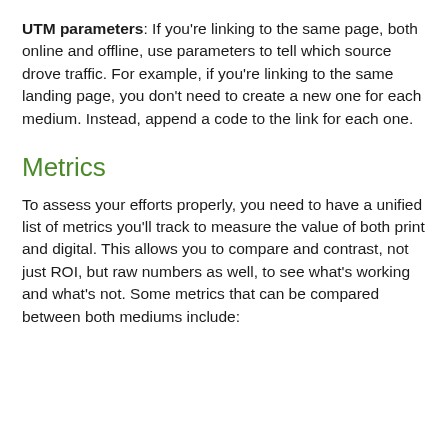UTM parameters: If you're linking to the same page, both online and offline, use parameters to tell which source drove traffic. For example, if you're linking to the same landing page, you don't need to create a new one for each medium. Instead, append a code to the link for each one.
Metrics
To assess your efforts properly, you need to have a unified list of metrics you'll track to measure the value of both print and digital. This allows you to compare and contrast, not just ROI, but raw numbers as well, to see what's working and what's not. Some metrics that can be compared between both mediums include: